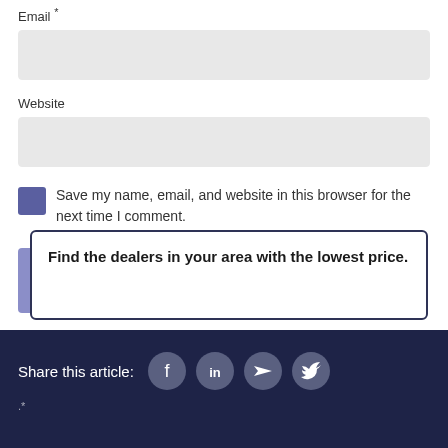Email *
Website
Save my name, email, and website in this browser for the next time I comment.
POST COMMENT
Find the dealers in your area with the lowest price.
Share this article: